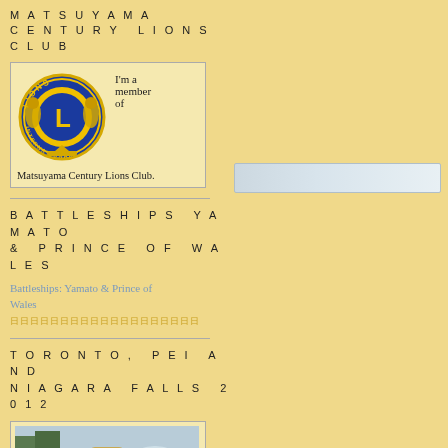MATSUYAMA CENTURY LIONS CLUB
[Figure (logo): Lions International circular logo with blue and gold design, large letter L in center surrounded by lions and 'INTERNATIONAL' text]
I'm a member of
Matsuyama Century Lions Club.
BATTLESHIPS YAMATO & PRINCE OF WALES
Battleships: Yamato & Prince of Wales
日日日日日日日日日日日日日日日日日日日
TORONTO, PEI AND NIAGARA FALLS 2012
[Figure (photo): Man wearing a hat and backpack standing near water (likely Niagara Falls) with trees and misty background]